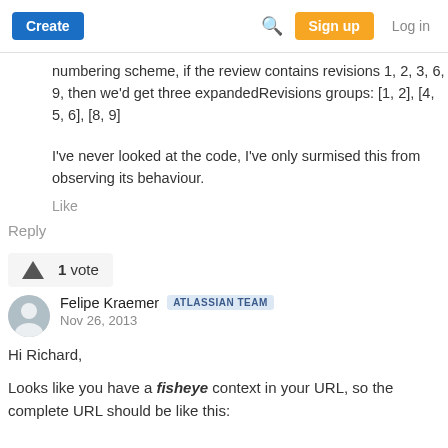Create | [search] | Sign up | Log in
numbering scheme, if the review contains revisions 1, 2, 3, 6, 9, then we'd get three expandedRevisions groups: [1, 2], [4, 5, 6], [8, 9]
I've never looked at the code, I've only surmised this from observing its behaviour.
Like
Reply
1 vote
Felipe Kraemer  ATLASSIAN TEAM
Nov 26, 2013
Hi Richard,
Looks like you have a fisheye context in your URL, so the complete URL should be like this: